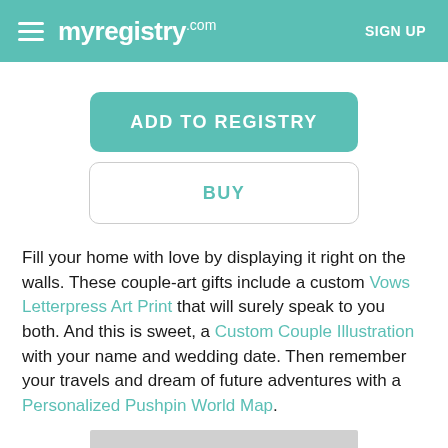myregistry.com  SIGN UP
ADD TO REGISTRY
BUY
Fill your home with love by displaying it right on the walls. These couple-art gifts include a custom Vows Letterpress Art Print that will surely speak to you both. And this is sweet, a Custom Couple Illustration with your name and wedding date. Then remember your travels and dream of future adventures with a Personalized Pushpin World Map.
[Figure (photo): Partial view of an image at the bottom of the page, showing a light grey rectangular area]